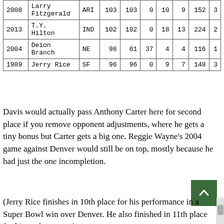| Year | Player | Team | Col4 | Col5 | Col6 | Col7 | Col8 | Col9 | Col10 |
| --- | --- | --- | --- | --- | --- | --- | --- | --- | --- |
| 2008 | Larry Fitzgerald | ARI | 103 | 103 | 0 | 10 | 9 | 152 | 3 |
| 2013 | T.Y. Hilton | IND | 102 | 102 | 0 | 18 | 13 | 224 | 2 |
| 2004 | Deion Branch | NE | 98 | 61 | 37 | 4 | 4 | 116 | 1 |
| 1989 | Jerry Rice | SF | 96 | 96 | 0 | 9 | 7 | 148 | 3 |
Davis would actually pass Anthony Carter here for second place if you remove opponent adjustments, where he gets a tiny bonus but Carter gets a big one. Reggie Wayne's 2004 game against Denver would still be on top, mostly because he had just the one incompletion.
(Jerry Rice finishes in 10th place for his performance in a Super Bowl win over Denver. He also finished in 11th place for his performance in a